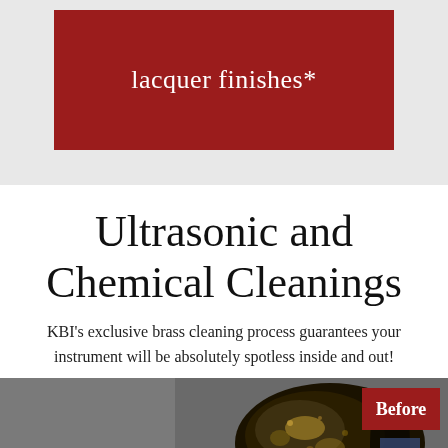lacquer finishes*
Ultrasonic and Chemical Cleanings
KBI's exclusive brass cleaning process guarantees your instrument will be absolutely spotless inside and out!
[Figure (photo): A brass instrument bell (tuba or euphonium) heavily tarnished and dirty, shown as a 'Before' cleaning photo. The instrument surface is dark black and corroded with some gold patches visible. A red badge in the top-right corner reads 'Before'.]